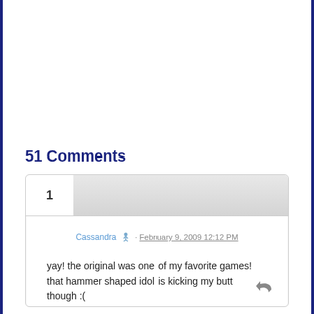51 Comments
1
Cassandra · February 9, 2009 12:12 PM
yay! the original was one of my favorite games! that hammer shaped idol is kicking my butt though :(